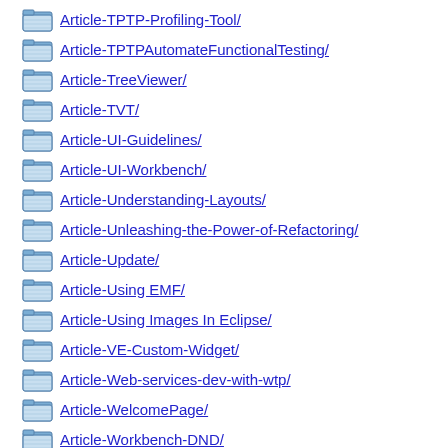Article-TPTP-Profiling-Tool/
Article-TPTPAutomateFunctionalTesting/
Article-TreeViewer/
Article-TVT/
Article-UI-Guidelines/
Article-UI-Workbench/
Article-Understanding-Layouts/
Article-Unleashing-the-Power-of-Refactoring/
Article-Update/
Article-Using EMF/
Article-Using Images In Eclipse/
Article-VE-Custom-Widget/
Article-Web-services-dev-with-wtp/
Article-WelcomePage/
Article-Workbench-DND/
Article-WorkbenchSelections/
Article-Writing Your Own Widget/
Article-WTP-Persisting-EMF/
Article-Your First Plug-in/
Getting-Started-With-EMF/